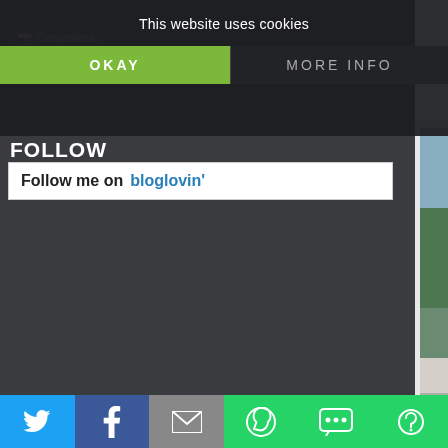This website uses cookies
OKAY
MORE INFO
FOLLOW
Follow me on bloglovin'
[Figure (photo): Golden baroque fountain statues on a checkered marble plaza at Peterhof Palace]
There's a romantic notion that career writers s... view of the ocean, or in a sunny garden with b... effortlessly spinning the treads of a story into a... different, especially if you are not a career writ...
[Figure (infographic): Social sharing bar with Twitter, Facebook, Email, WhatsApp, SMS, and More buttons]